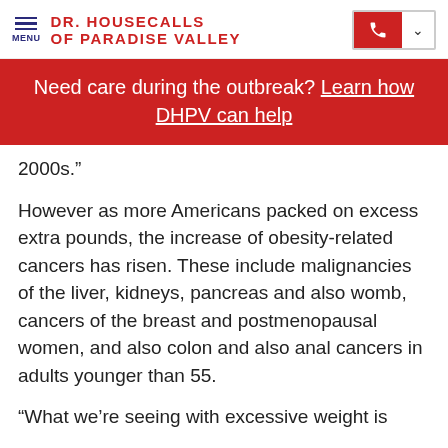DR. HOUSECALLS OF PARADISE VALLEY
Need care during the outbreak? Learn how DHPV can help
2000s.”
However as more Americans packed on excess extra pounds, the increase of obesity-related cancers has risen. These include malignancies of the liver, kidneys, pancreas and also womb, cancers of the breast and postmenopausal women, and also colon and also anal cancers in adults younger than 55.
“What we’re seeing with excessive weight is